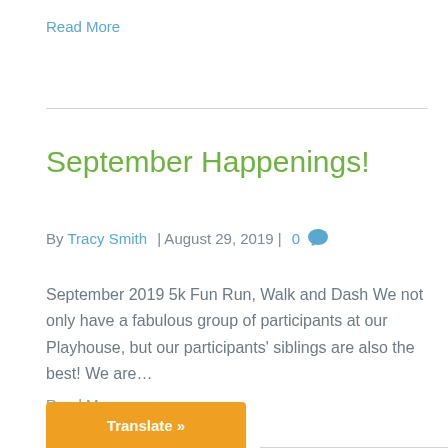Read More
September Happenings!
By Tracy Smith | August 29, 2019 | 0 💬
September 2019 5k Fun Run, Walk and Dash We not only have a fabulous group of participants at our Playhouse, but our participants' siblings are also the best! We are…
Read More
Translate »